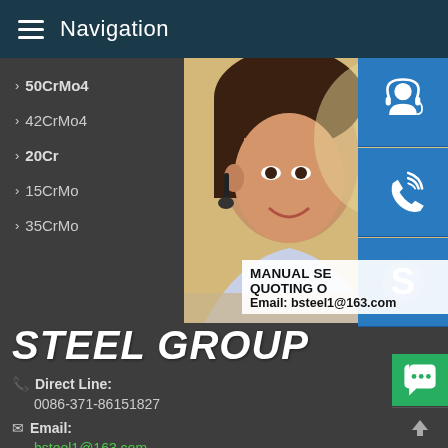Navigation
> 50CrMo4
> 51CrV...
> 42CrMo4
> 12Cr1...
> 20Cr
> 40Cr
> 15CrMo
> 30CrM...
> 35CrMo
> 42CrM...
[Figure (photo): Customer service representative with headset, with support icons (headset, phone, Skype) on right side]
MANUAL SE... QUOTING O... Email: bsteel1@163.com
STEEL GROUP
Direct Line: 0086-371-86151827
Email: bsteel1@163.com
Address: Zhengzhou City, Henan, China